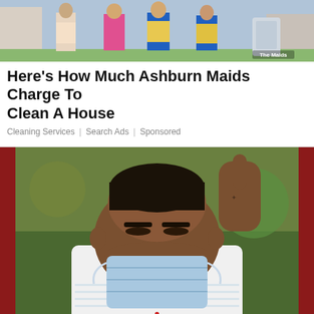[Figure (photo): Advertisement banner showing maids/cleaning service workers in uniform posing together outdoors. Logo 'The Maids' visible in bottom right.]
Here's How Much Ashburn Maids Charge To Clean A House
Cleaning Services | Search Ads | Sponsored
[Figure (photo): News photo of a man wearing a white shirt and light blue surgical face mask, head bowed down. Dark red sidebars frame the image on left and right.]
Jerod Dawson committed to stand trial for